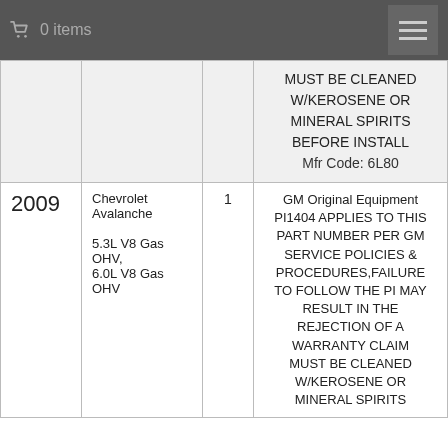0 items
| Year | Vehicle | Qty | Description |
| --- | --- | --- | --- |
|  |  |  | MUST BE CLEANED W/KEROSENE OR MINERAL SPIRITS BEFORE INSTALL
Mfr Code: 6L80 |
| 2009 | Chevrolet Avalanche
5.3L V8 Gas OHV,
6.0L V8 Gas OHV | 1 | GM Original Equipment PI1404 APPLIES TO THIS PART NUMBER PER GM SERVICE POLICIES & PROCEDURES,FAILURE TO FOLLOW THE PI MAY RESULT IN THE REJECTION OF A WARRANTY CLAIM MUST BE CLEANED W/KEROSENE OR MINERAL SPIRITS |